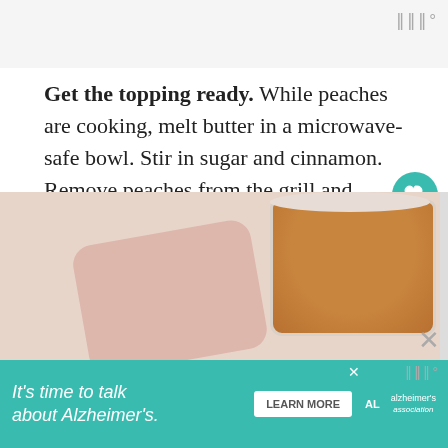[Figure (other): Top navigation/header bar, light gray background with logo mark (three vertical bars with degree symbol) in top right corner]
Get the topping ready. While peaches are cooking, melt butter in a microwave-safe bowl. Stir in sugar and cinnamon. Remove peaches from the grill and place them on a baking sheet with a rim.
Eat and serve the grilled peaches. Spoon butter mixture over peaches slowly, so it soaks in. Serve immediately with ice cream and caramel sauce, if desired.
[Figure (photo): Partial photo showing a cup of coffee/caramel sauce on a pink background with fabric texture]
[Figure (other): Advertisement banner: teal background with text 'It's time to talk about Alzheimer's.' with LEARN MORE button and Alzheimer's Association logo]